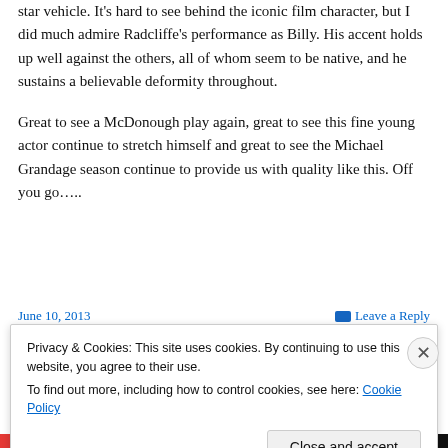star vehicle. It's hard to see behind the iconic film character, but I did much admire Radcliffe's performance as Billy. His accent holds up well against the others, all of whom seem to be native, and he sustains a believable deformity throughout.
Great to see a McDonough play again, great to see this fine young actor continue to stretch himself and great to see the Michael Grandage season continue to provide us with quality like this. Off you go…..
June 10, 2013   Leave a Reply
Privacy & Cookies: This site uses cookies. By continuing to use this website, you agree to their use.
To find out more, including how to control cookies, see here: Cookie Policy
Close and accept